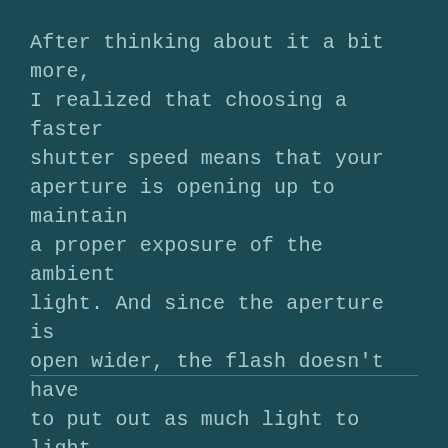After thinking about it a bit more, I realized that choosing a faster shutter speed means that your aperture is opening up to maintain a proper exposure of the ambient light. And since the aperture is open wider, the flash doesn't have to put out as much light to light your subject properly.
Which is great when you're competing with the sun as the primary light source :)